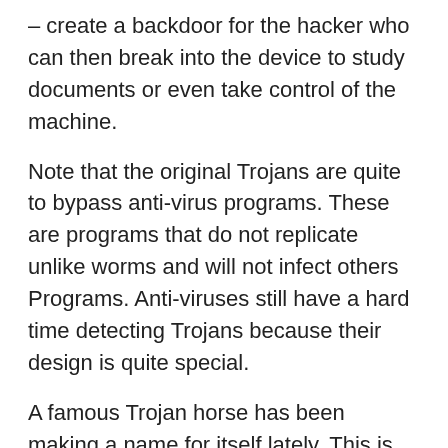– create a backdoor for the hacker who can then break into the device to study documents or even take control of the machine.
Note that the original Trojans are quite to bypass anti-virus programs. These are programs that do not replicate unlike worms and will not infect others Programs. Anti-viruses still have a hard time detecting Trojans because their design is quite special.
A famous Trojan horse has been making a name for itself lately. This is the "Pegasus" malware famous for its sophistication. Because once set up in a mobile, be it iOS or Android, this malware is able to copy all the data desired by its user, using different servers.
Apparently he's able to impersonate even the phone and access the hack victim's cloud. The power is at the level where it is even able to bypass the famous dual-